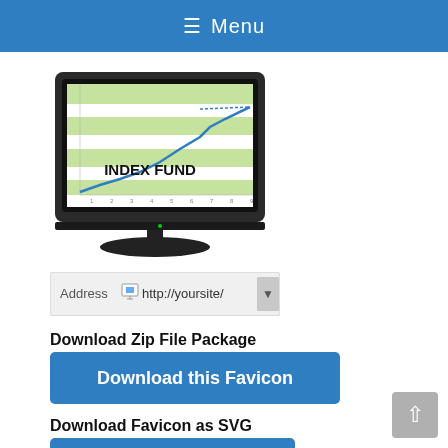≡ Menu
[Figure (illustration): A computer monitor displaying a line chart with green horizontal bands labeled INDEX FUND, shown on a dark-framed screen with stand]
[Figure (screenshot): A browser address bar showing: Address [icon] http://yoursite/ [dropdown arrow]]
Download Zip File Package
Download this Favicon
Download Favicon as SVG
Download as SVG